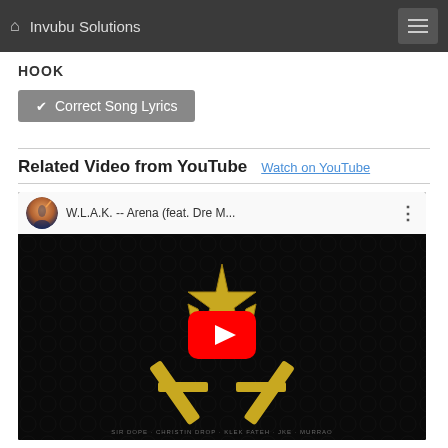Invubu Solutions
HOOK
✔ Correct Song Lyrics
Related Video from YouTube  Watch on YouTube
[Figure (screenshot): YouTube embedded video player showing W.L.A.K. -- Arena (feat. Dre M... with album art featuring gold emblem on dark background and red YouTube play button overlay]